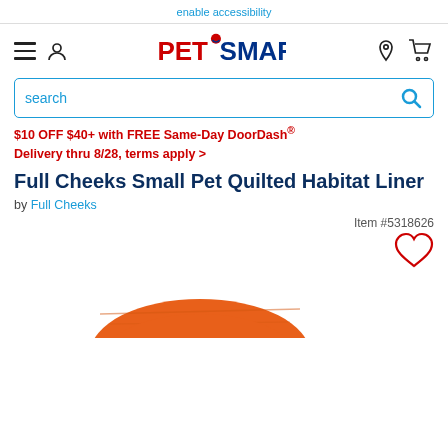enable accessibility
[Figure (logo): PetSmart logo with navigation icons including hamburger menu, user icon, location pin, and shopping cart]
[Figure (screenshot): Search bar with 'search' placeholder text and blue search icon]
$10 OFF $40+ with FREE Same-Day DoorDash® Delivery thru 8/28, terms apply >
Full Cheeks Small Pet Quilted Habitat Liner
by Full Cheeks
Item #5318626
[Figure (illustration): Heart/wishlist icon in red outline]
[Figure (photo): Partial view of an orange quilted pet habitat liner product at the bottom of the page]